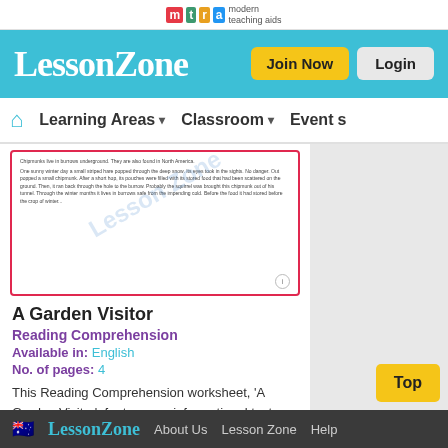mta modern teaching aids
LessonZone
Learning Areas  Classroom  Events
[Figure (screenshot): Preview thumbnail of 'A Garden Visitor' reading comprehension worksheet with watermark overlay]
A Garden Visitor
Reading Comprehension
Available in: English
No. of pages: 4
This Reading Comprehension worksheet, 'A Garden Visitor', features an informational text about chipmunk appearance, diet, behaviour, and life history. It
About Us  Lesson Zone  Help